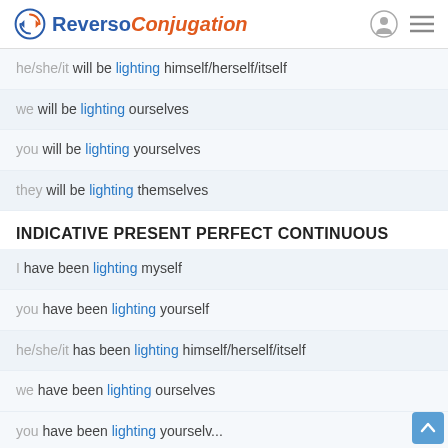Reverso Conjugation
he/she/it will be lighting himself/herself/itself
we will be lighting ourselves
you will be lighting yourselves
they will be lighting themselves
INDICATIVE PRESENT PERFECT CONTINUOUS
I have been lighting myself
you have been lighting yourself
he/she/it has been lighting himself/herself/itself
we have been lighting ourselves
you have been lighting yourselves (partial/cut off)